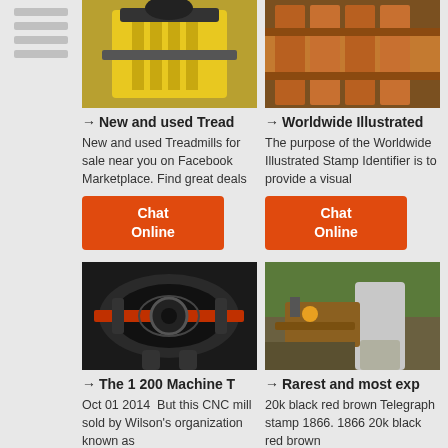[Figure (photo): Yellow industrial jaw crusher machine]
→ New and used Tread
New and used Treadmills for sale near you on Facebook Marketplace. Find great deals
Chat Online
[Figure (photo): Orange industrial mining equipment structure]
→ Worldwide Illustrated
The purpose of the Worldwide Illustrated Stamp Identifier is to provide a visual
Chat Online
[Figure (photo): Black and red CNC machine / cone crusher]
→ The 1 200 Machine T
Oct 01 2014  But this CNC mill sold by Wilson's organization known as
Chat Online
[Figure (photo): Quarry mining conveyor equipment with white cover]
→ Rarest and most exp
20k black red brown Telegraph stamp 1866. 1866 20k black red brown
Chat Online